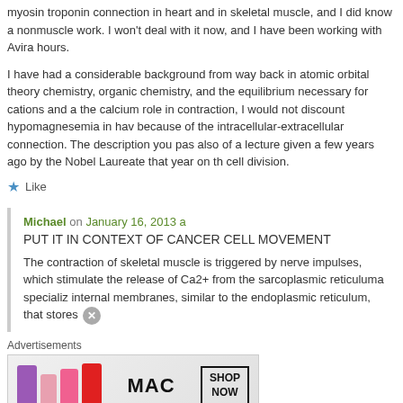myosin troponin connection in heart and in skeletal muscle, and I did know a nonmuscle work. I won't deal with it now, and I have been working with Avira hours.
I have had a considerable background from way back in atomic orbital theory chemistry, organic chemistry, and the equilibrium necessary for cations and a the calcium role in contraction, I would not discount hypomagnesemia in hav because of the intracellular-extracellular connection. The description you pas also of a lecture given a few years ago by the Nobel Laureate that year on th cell division.
★ Like
Michael on January 16, 2013 a
PUT IT IN CONTEXT OF CANCER CELL MOVEMENT
The contraction of skeletal muscle is triggered by nerve impulses, which stimulate the release of Ca2+ from the sarcoplasmic reticulum—a specializ internal membranes, similar to the endoplasmic reticulum, that stores
Advertisements
[Figure (photo): MAC cosmetics advertisement banner showing lipsticks and SHOP NOW button]